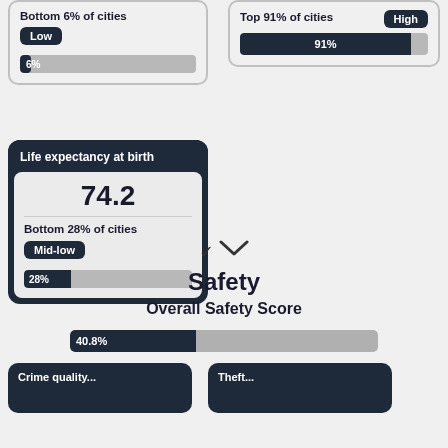[Figure (infographic): Top-left card: Bottom 6% of cities, Low badge, 6% progress bar]
[Figure (infographic): Top-right card: Top 91% of cities, High badge, 91% progress bar (dark fill)]
[Figure (infographic): Life expectancy at birth card: value 74.2, Bottom 28% of cities, Mid-low badge, 28% progress bar]
▼
Safety
Overall Safety Score
[Figure (infographic): Overall Safety Score progress bar: 40.8%]
[Figure (infographic): Bottom-left dark card (partial): crime-related label]
[Figure (infographic): Bottom-right dark card (partial): Theft label]